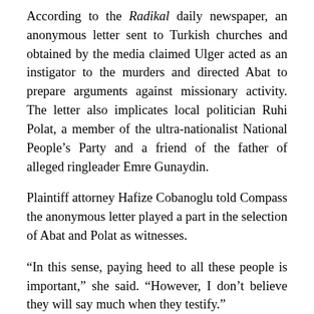According to the Radikal daily newspaper, an anonymous letter sent to Turkish churches and obtained by the media claimed Ulger acted as an instigator to the murders and directed Abat to prepare arguments against missionary activity. The letter also implicates local politician Ruhi Polat, a member of the ultra-nationalist National People's Party and a friend of the father of alleged ringleader Emre Gunaydin.
Plaintiff attorney Hafize Cobanoglu told Compass the anonymous letter played a part in the selection of Abat and Polat as witnesses.
“In this sense, paying heed to all these people is important,” she said. “However, I don’t believe they will say much when they testify.”
The call for new witnesses came two weeks after the arrest of two men suspected of acting as liaisons between the five